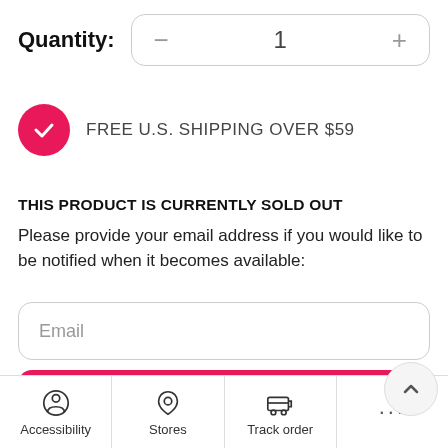Quantity:
FREE U.S. SHIPPING OVER $59
THIS PRODUCT IS CURRENTLY SOLD OUT
Please provide your email address if you would like to be notified when it becomes available:
Email
SUBMIT
By entering you email address, you agree to receive emails containing news and offers from Perfumania
Accessibility
Stores
Track order
...